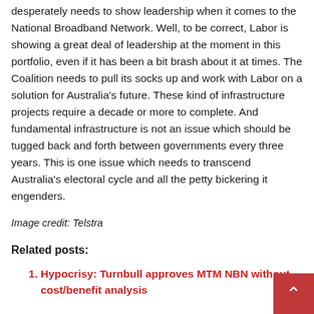desperately needs to show leadership when it comes to the National Broadband Network. Well, to be correct, Labor is showing a great deal of leadership at the moment in this portfolio, even if it has been a bit brash about it at times. The Coalition needs to pull its socks up and work with Labor on a solution for Australia's future. These kind of infrastructure projects require a decade or more to complete. And fundamental infrastructure is not an issue which should be tugged back and forth between governments every three years. This is one issue which needs to transcend Australia's electoral cycle and all the petty bickering it engenders.
Image credit: Telstra
Related posts:
Hypocrisy: Turnbull approves MTM NBN without cost/benefit analysis